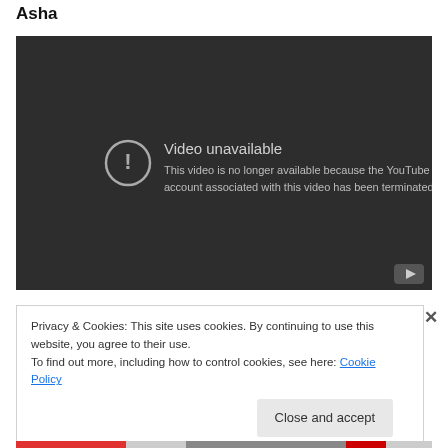Asha
[Figure (screenshot): YouTube embedded video player showing 'Video unavailable' error message. Dark background with circular exclamation icon and text: 'Video unavailable. This video is no longer available because the YouTube account associated with this video has been terminated.' YouTube logo in bottom right corner.]
Privacy & Cookies: This site uses cookies. By continuing to use this website, you agree to their use.
To find out more, including how to control cookies, see here: Cookie Policy
Close and accept